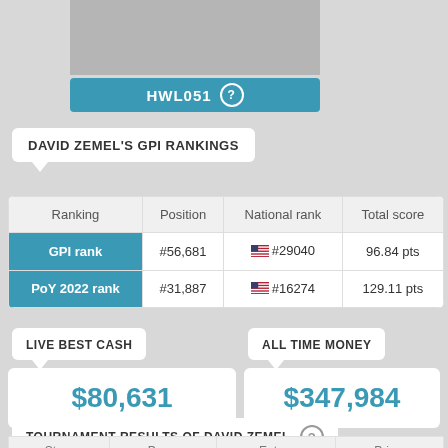[Figure (photo): Gray placeholder photo of a person]
HWL051 ?
DAVID ZEMEL'S GPI RANKINGS
| Ranking | Position | National rank | Total score |
| --- | --- | --- | --- |
| GPI rank | #56,681 | 🇺🇸 #29040 | 96.84 pts |
| PoY 2022 rank | #31,887 | 🇺🇸 #16274 | 129.11 pts |
LIVE BEST CASH
$80,631
ALL TIME MONEY
$347,984
TOURNAMENT RESULTS OF DAVID ZEMEL ?